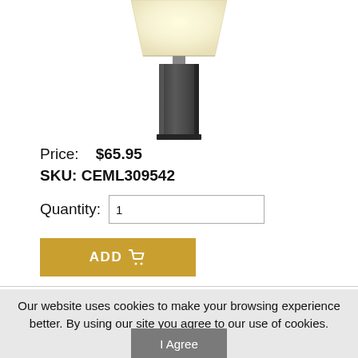[Figure (photo): A rectangular table lamp with a dark charcoal/gunmetal colored base and a white/cream lampshade, photographed on a white background. Only the lower portion of the lamp (base and lower shade) is visible.]
Price:    $65.95
SKU: CEML309542
Quantity:  1
ADD
Our website uses cookies to make your browsing experience better. By using our site you agree to our use of cookies.
Learn More
I Agree